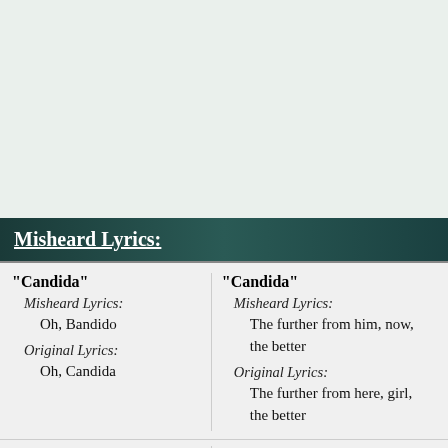Misheard Lyrics:
"Candida"
  Misheard Lyrics:
    Oh, Bandido
  Original Lyrics:
    Oh, Candida
"Candida"
  Misheard Lyrics:
    The further from him, now, the better
  Original Lyrics:
    The further from here, girl, the better
"Candida"
"Knock Three Times"